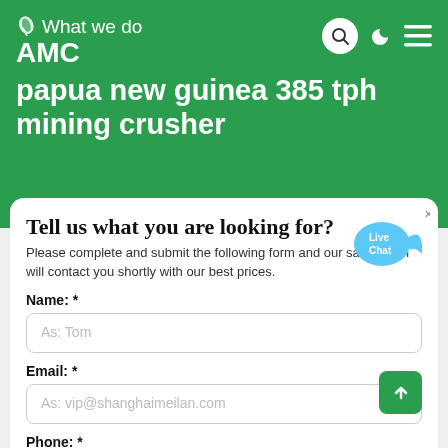What we do AMC papua new guinea 385 tph mining crusher
Tell us what you are looking for?
Please complete and submit the following form and our sales team will contact you shortly with our best prices.
Name: *
As: Tom
Email: *
As: vip@shanghaimeilan.com
Phone: *
With Country Code